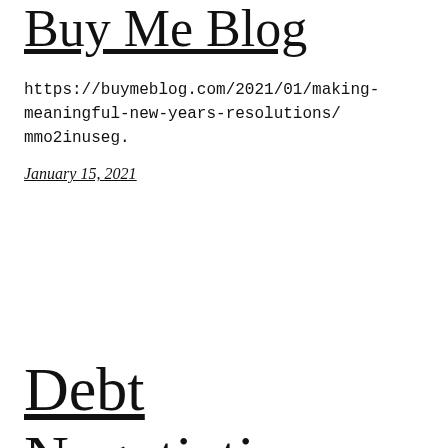Buy Me Blog
https://buymeblog.com/2021/01/making-meaningful-new-years-resolutions/ mmo2inuseg.
January 15, 2021
Debt Negotiation